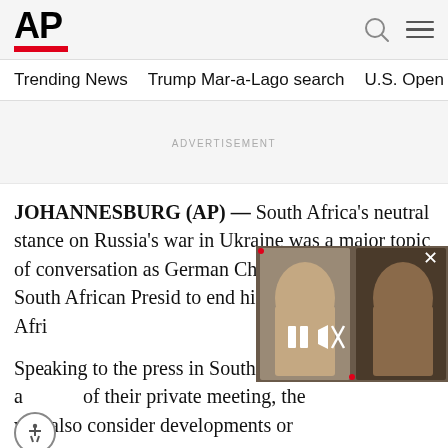AP
Trending News   Trump Mar-a-Lago search   U.S. Open Tennis
ADVERTISEMENT
JOHANNESBURG (AP) — South Africa's neutral stance on Russia's war in Ukraine was a major topic of conversation as German Chancellor met Tuesday with South African President to end his three-nation tour of Africa.
Speaking to the press in South Africa after their private meeting, the will also consider developments on
[Figure (screenshot): Video overlay showing two men's faces with video playback controls (pause and mute buttons) and a close button.]